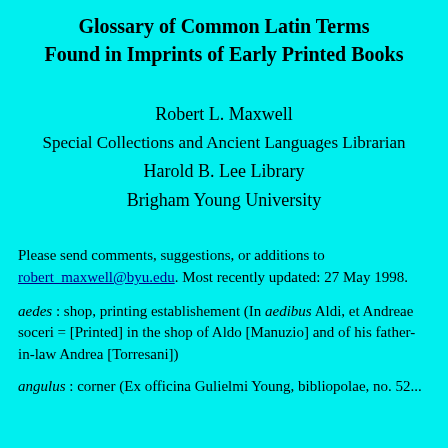Glossary of Common Latin Terms
Found in Imprints of Early Printed Books
Robert L. Maxwell
Special Collections and Ancient Languages Librarian
Harold B. Lee Library
Brigham Young University
Please send comments, suggestions, or additions to robert_maxwell@byu.edu. Most recently updated: 27 May 1998.
aedes : shop, printing establishement (In aedibus Aldi, et Andreae soceri = [Printed] in the shop of Aldo [Manuzio] and of his father-in-law Andrea [Torresani])
angulus : corner (Ex officina Gulielmi Young, bibliopolae, no. 52...